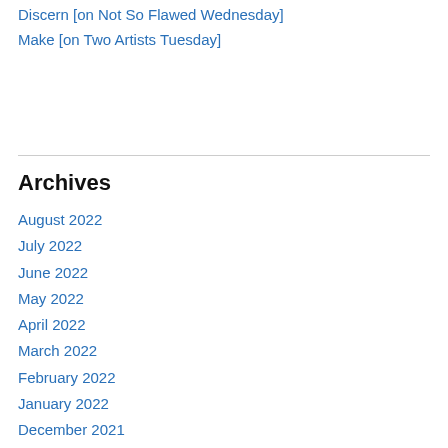Discern [on Not So Flawed Wednesday]
Make [on Two Artists Tuesday]
Archives
August 2022
July 2022
June 2022
May 2022
April 2022
March 2022
February 2022
January 2022
December 2021
November 2021
October 2021
September 2021
August 2021
July 2021